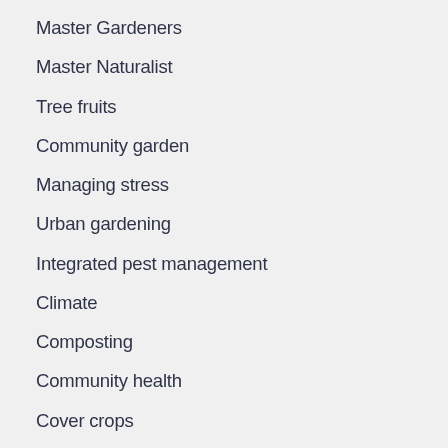Master Gardeners
Master Naturalist
Tree fruits
Community garden
Managing stress
Urban gardening
Integrated pest management
Climate
Composting
Community health
Cover crops
Drainage